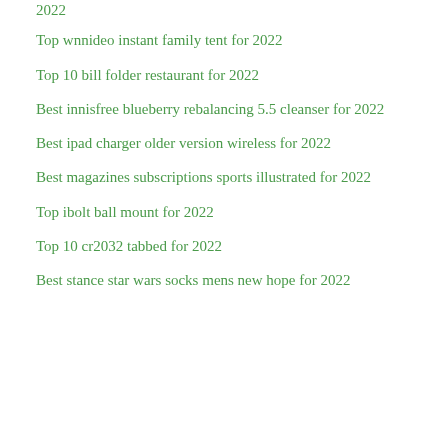2022
Top wnnideo instant family tent for 2022
Top 10 bill folder restaurant for 2022
Best innisfree blueberry rebalancing 5.5 cleanser for 2022
Best ipad charger older version wireless for 2022
Best magazines subscriptions sports illustrated for 2022
Top ibolt ball mount for 2022
Top 10 cr2032 tabbed for 2022
Best stance star wars socks mens new hope for 2022